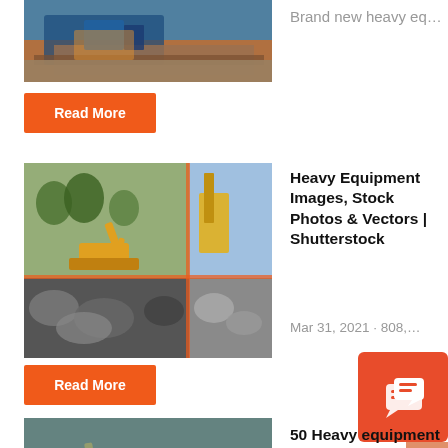[Figure (photo): Heavy equipment / crusher machine photo at the top]
Brand new heavy eq...
Read More
[Figure (photo): Collage of heavy equipment images including excavator and rock crushing]
Heavy Equipment Images, Stock Photos & Vectors | Shutterstock
Mar 31, 2021 · 808,...
Read More
[Figure (photo): Heavy equipment operator machines at bottom]
50 Heavy equipment operator ideas |
[Figure (illustration): Orange chat/messaging icon widget]